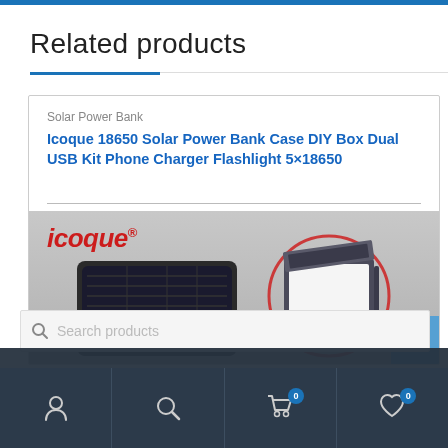Related products
Solar Power Bank
Icoque 18650 Solar Power Bank Case DIY Box Dual USB Kit Phone Charger Flashlight 5×18650
[Figure (photo): Product image of Icoque solar power bank with flashlight LEDs and battery case, with icoque red logo at top left]
Search products
Navigation bar with account, search, cart (0), and wishlist (0) icons